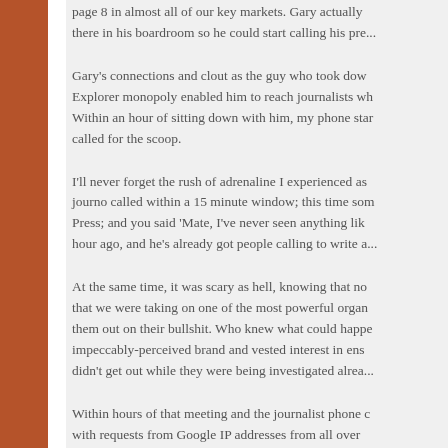page 8 in almost all of our key markets. Gary actually there in his boardroom so he could start calling his pre...
Gary's connections and clout as the guy who took dow Explorer monopoly enabled him to reach journalists wh Within an hour of sitting down with him, my phone star called for the scoop.
I'll never forget the rush of adrenaline I experienced as journo called within a 15 minute window; this time som Press; and you said 'Mate, I've never seen anything lik hour ago, and he's already got people calling to write a...
At the same time, it was scary as hell, knowing that no that we were taking on one of the most powerful organ them out on their bullshit. Who knew what could happe impeccably-perceived brand and vested interest in ens didn't get out while they were being investigated alrea...
Within hours of that meeting and the journalist phone c with requests from Google IP addresses from all over Washington, DC. We could see them going through ou PR pummeling and attempts to discredit us were immi...